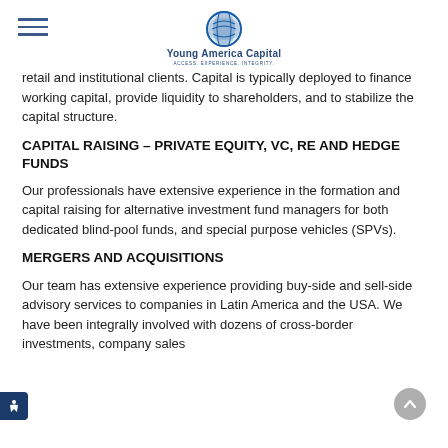[Figure (logo): Young America Capital logo with blue globe icon and tagline ACCESS. EXPERIENCE. INTEGRITY.]
retail and institutional clients. Capital is typically deployed to finance working capital, provide liquidity to shareholders, and to stabilize the capital structure.
CAPITAL RAISING – PRIVATE EQUITY, VC, RE AND HEDGE FUNDS
Our professionals have extensive experience in the formation and capital raising for alternative investment fund managers for both dedicated blind-pool funds, and special purpose vehicles (SPVs).
MERGERS AND ACQUISITIONS
Our team has extensive experience providing buy-side and sell-side advisory services to companies in Latin America and the USA. We have been integrally involved with dozens of cross-border investments, company sales